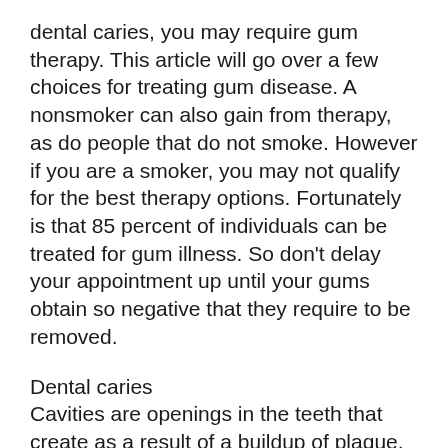dental caries, you may require gum therapy. This article will go over a few choices for treating gum disease. A nonsmoker can also gain from therapy, as do people that do not smoke. However if you are a smoker, you may not qualify for the best therapy options. Fortunately is that 85 percent of individuals can be treated for gum illness. So don't delay your appointment up until your gums obtain so negative that they require to be removed.
Dental caries
Cavities are openings in the teeth that create as a result of a buildup of plaque. The acid in plaque deteriorates the enamel and also eventually reaches the softer dentine below. If the decay doesn't obtain treated in time